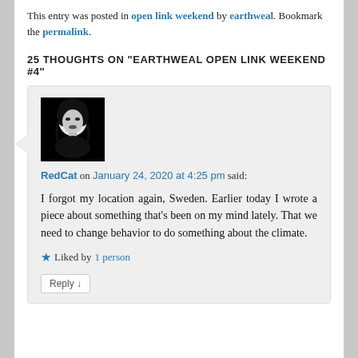This entry was posted in open link weekend by earthweal. Bookmark the permalink.
25 THOUGHTS ON "EARTHWEAL OPEN LINK WEEKEND #4"
[Figure (photo): Black and white portrait photo of a woman used as commenter avatar for RedCat]
RedCat on January 24, 2020 at 4:25 pm said:
I forgot my location again, Sweden. Earlier today I wrote a piece about something that's been on my mind lately. That we need to change behavior to do something about the climate.
★ Liked by 1 person
Reply ↓